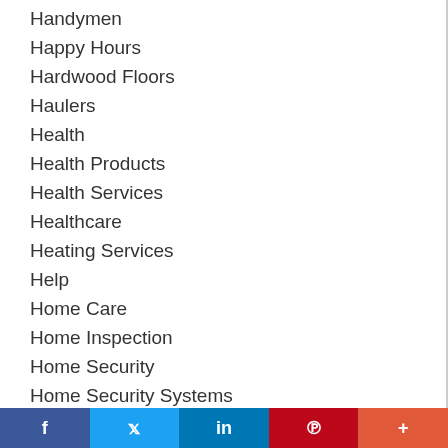Handymen
Happy Hours
Hardwood Floors
Haulers
Health
Health Products
Health Services
Healthcare
Heating Services
Help
Home Care
Home Inspection
Home Security
Home Security Systems